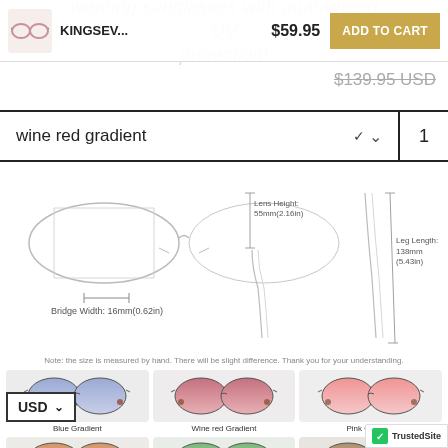KINGSEV... $59.95 ADD TO CART
$139.95 USD (strikethrough)
wine red gradient ˅  1
[Figure (engineering-diagram): Technical diagram of rimless sunglasses showing Bridge Width: 16mm(0.62in), Lens Height: 55mm(2.16in), Leg Length: 138mm(5.43in)]
Note: the size is measured by hand. There will be slight difference. Thank you for your understanding.
[Figure (photo): Blue Gradient rimless sunglasses product photo]
Blue Gradient
[Figure (photo): Wine red Gradient rimless sunglasses product photo]
Wine red Gradient
[Figure (photo): Pink Gradient rimless sunglasses product photo]
Pink Gradient
USD ˅
[Figure (photo): Orange/brown Gradient rimless sunglasses product photo (partial)]
[Figure (photo): Green Gradient rimless sunglasses product photo (partial)]
[Figure (logo): TrustedSite badge]